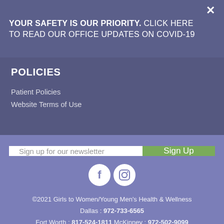YOUR SAFETY IS OUR PRIORITY. CLICK HERE TO READ OUR OFFICE UPDATES ON COVID-19
POLICIES
Patient Policies
Website Terms of Use
Sign up for our newsletter
Sign Up
[Figure (illustration): Facebook and Instagram social media icons (white circles with f and camera icons)]
©2021 Girls to Women/Young Men's Health & Wellness Dallas : 972-733-6565 Fort Worth : 817-524-1811 McKinney : 972-502-9099 Site By: Idealgrowth